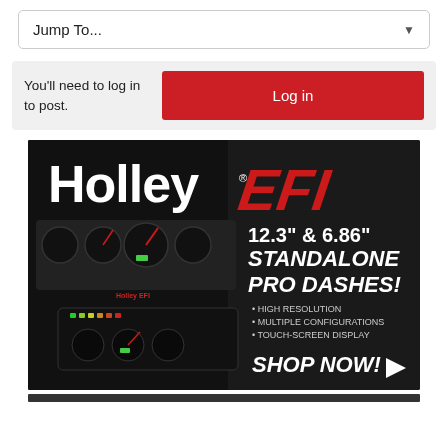Jump To...
You'll need to log in to post.
Log in
[Figure (photo): Holley EFI advertisement showing 12.3" & 6.86" Standalone Pro Dashes with text: HIGH RESOLUTION, MULTIPLE CONFIGURATIONS, TOUCH-SCREEN DISPLAY, SHOP NOW!]